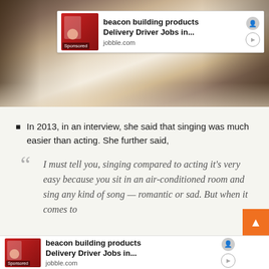[Figure (photo): Photo of a couple at an event. A woman in a white dress with rings visible on her hands, a man in a dark jacket beside her.]
[Figure (other): Sponsored advertisement banner for beacon building products Delivery Driver Jobs, from jobble.com]
In 2013, in an interview, she said that singing was much easier than acting. She further said,
I must tell you, singing compared to acting it’s very easy because you sit in an air-conditioned room and sing any kind of song — romantic or sad. But when it comes to
[Figure (other): Sponsored advertisement banner for beacon building products Delivery Driver Jobs, from jobble.com (bottom)]